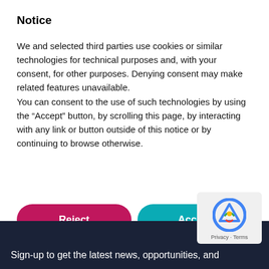Notice
We and selected third parties use cookies or similar technologies for technical purposes and, with your consent, for other purposes. Denying consent may make related features unavailable.
You can consent to the use of such technologies by using the “Accept” button, by scrolling this page, by interacting with any link or button outside of this notice or by continuing to browse otherwise.
Reject
Accept
Learn more and customize
Sign-up to get the latest news, opportunities, and